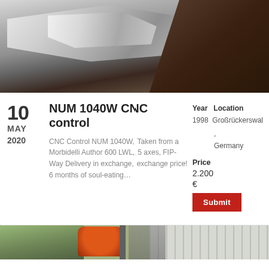[Figure (photo): Close-up photograph of a metal CNC machine part, silver/aluminum bracket against a dark brown background]
10
MAY
2020
NUM 1040W CNC control
CNC Control NUM 1040W, Taken from a Morbidelli Author 600 LWL, 5 axes, FIP-Way Delivery in exchange, exchange price! 6 months of soul-eating…
Year  Location
1998  Großrückerswal,
       Germany
Price
2.200
€
Submit
[Figure (photo): Partial view of industrial machinery with orange components and metal fence/racking in background]